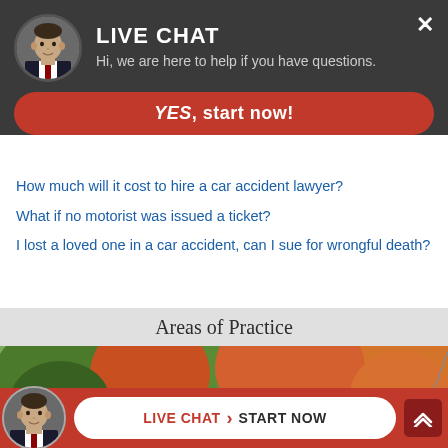[Figure (screenshot): Live chat overlay with profile photo of a man in suit, dark gray background, LIVE CHAT title and subtitle text, close X button, red YES start now button]
How much will it cost to hire a car accident lawyer?
What if no motorist was issued a ticket?
I lost a loved one in a car accident, can I sue for wrongful death?
Areas of Practice
[Figure (photo): Outdoor photo showing autumn trees with orange and red foliage and the rear of a dark car]
[Figure (screenshot): Bottom bar with red background, circular profile photo of a man in suit, and white pill-shaped button reading LIVE CHAT > START NOW]